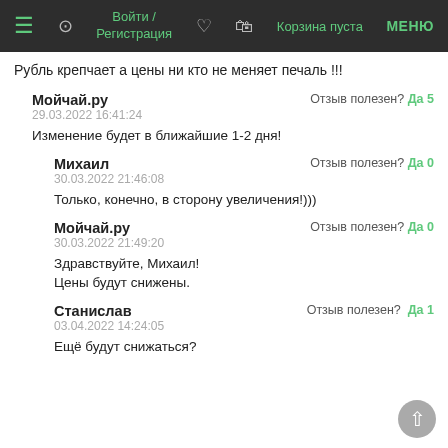≡  (user icon)  Войти / Регистрация  (heart icon)  (bag icon)  Корзина пуста  МЕНЮ
Рубль крепчает а цены ни кто не меняет печаль !!!
Мойчай.ру
29.03.2022 16:41:24
Отзыв полезен? Да 5
Изменение будет в ближайшие 1-2 дня!
Михаил
30.03.2022 21:46:08
Отзыв полезен? Да 0
Только, конечно, в сторону увеличения!)))
Мойчай.ру
30.03.2022 21:49:20
Отзыв полезен? Да 0
Здравствуйте, Михаил!
Цены будут снижены.
Станислав
03.04.2022 14:24:05
Отзыв полезен? Да 1
Ещё будут снижаться?